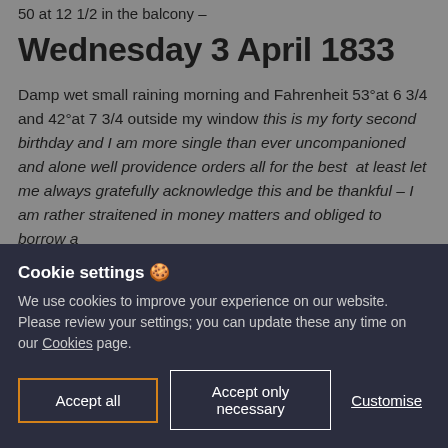50 at 12 1/2 in the balcony –
Wednesday 3 April 1833
Damp wet small raining morning and Fahrenheit 53°at 6 3/4 and 42°at 7 3/4 outside my window this is my forty second birthday and I am more single than ever uncompanioned and alone well providence orders all for the best  at least let me always gratefully acknowledge this and be thankful – I am rather straitened in money matters and obliged to borrow a
Cookie settings 🍪
We use cookies to improve your experience on our website. Please review your settings; you can update these any time on our Cookies page.
Accept all  Accept only necessary  Customise